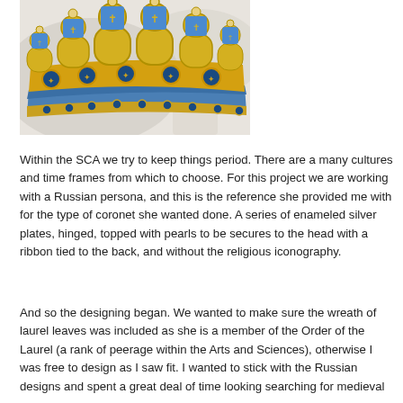[Figure (illustration): A colored illustration/drawing of a Russian-style coronet (crown) with golden enameled plates decorated with religious figures, blue and gold ornamentation, and pearl-like embellishments along the top edges.]
Within the SCA we try to keep things period. There are a many cultures and time frames from which to choose. For this project we are working with a Russian persona, and this is the reference she provided me with for the type of coronet she wanted done. A series of enameled silver plates, hinged, topped with pearls to be secures to the head with a ribbon tied to the back, and without the religious iconography.
And so the designing began. We wanted to make sure the wreath of laurel leaves was included as she is a member of the Order of the Laurel (a rank of peerage within the Arts and Sciences), otherwise I was free to design as I saw fit. I wanted to stick with the Russian designs and spent a great deal of time looking searching for medieval